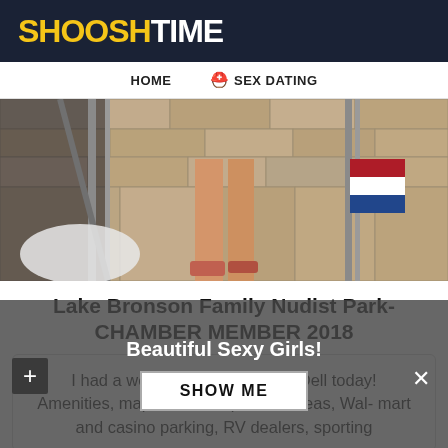SHOOSHTIME
HOME  SEX DATING
[Figure (photo): Partial view of people on a boat near a stone wall, Dutch flag visible]
Lake Bronson Family Nudist Park- CHAMBER MEMBER 2018
I had a wonderful time at Olive Dell today! Amenities, maps, truck stops, rest areas, Walmart and casino parking, RV dealers, sporting goods stores and much more. If you are looking for a wonderful place to relax - no need to look any further than Lake Como! As soon as it was over, I dashed for the car. We'll take about the positives first.
Beautiful Sexy Girls!
SHOW ME